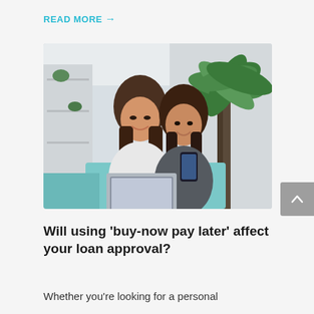READ MORE →
[Figure (photo): Two young Asian women sitting on a couch smiling and looking at a laptop and phone, with a tall indoor plant in the background in a bright living room.]
Will using 'buy-now pay later' affect your loan approval?
Whether you're looking for a personal